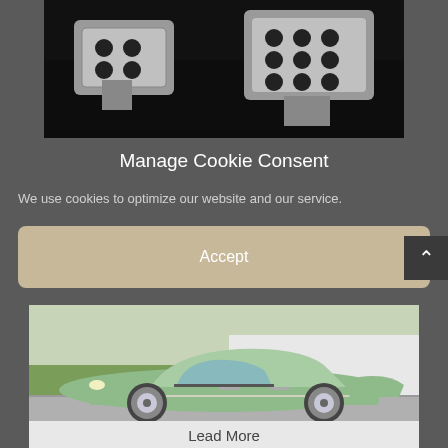[Figure (photo): Close-up photo of metal car pedals (brake and accelerator) on a dark background]
Manage Cookie Consent
We use cookies to optimize our website and our service.
Accept
[Figure (photo): Side view of a classic mint green 1960s American car driving on a road]
Lead More